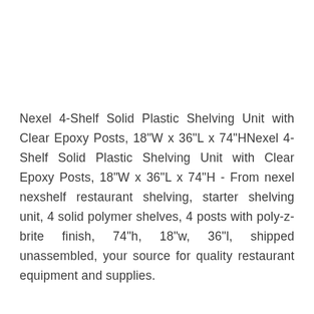Nexel 4-Shelf Solid Plastic Shelving Unit with Clear Epoxy Posts, 18"W x 36"L x 74"HNexel 4-Shelf Solid Plastic Shelving Unit with Clear Epoxy Posts, 18"W x 36"L x 74"H - From nexel nexshelf restaurant shelving, starter shelving unit, 4 solid polymer shelves, 4 posts with poly-z-brite finish, 74"h, 18"w, 36"l, shipped unassembled, your source for quality restaurant equipment and supplies.